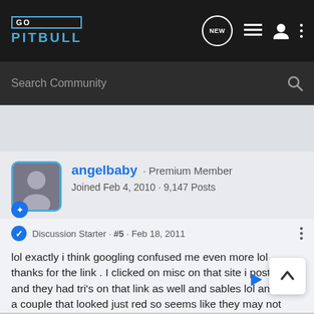GO PITBULL — Navigation bar with logo, search, and icons
Search Community
angelbaby · Premium Member
Joined Feb 4, 2010 · 9,147 Posts
Discussion Starter · #5 · Feb 18, 2011
lol exactly i think googling confused me even more lol ... thanks for the link . I clicked on misc on that site i posted and they had tri's on that link as well and sables lol and even a couple that looked just red so seems like they may not know what they're looking at either lol.